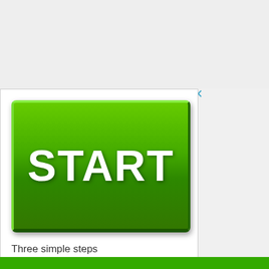[Figure (screenshot): Gray top background area representing a webpage header region]
[Figure (illustration): Advertisement box with a large green 3D START button, followed by text 'Three simple steps' with numbered list, brand name 'all-in-1 digitalcontent', and tagline 'Games - Ebooks - Music - Movies']
Three simple steps
1. Click on "Start"
2. Activate your account
3. Access your content
▼ all-in-1 digitalcontent
Games - Ebooks - Music - Movies